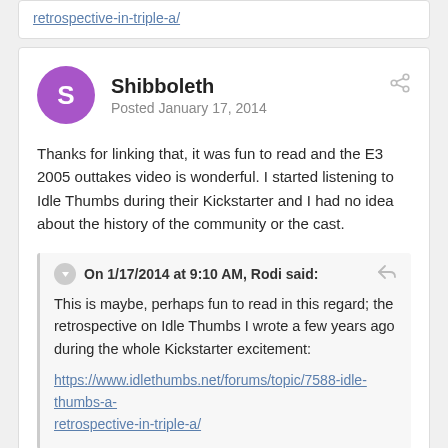retrospective-in-triple-a/
Shibboleth
Posted January 17, 2014
Thanks for linking that, it was fun to read and the E3 2005 outtakes video is wonderful. I started listening to Idle Thumbs during their Kickstarter and I had no idea about the history of the community or the cast.
On 1/17/2014 at 9:10 AM, Rodi said:
This is maybe, perhaps fun to read in this regard; the retrospective on Idle Thumbs I wrote a few years ago during the whole Kickstarter excitement:
https://www.idlethumbs.net/forums/topic/7588-idle-thumbs-a-retrospective-in-triple-a/